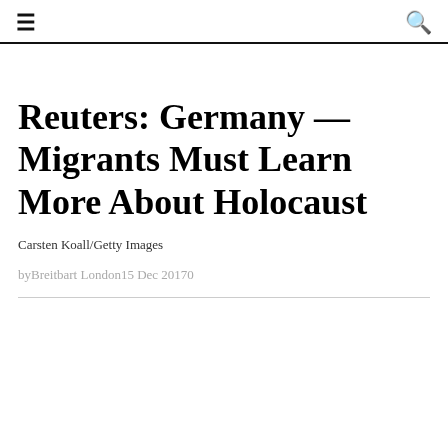☰  🔍
Reuters: Germany — Migrants Must Learn More About Holocaust
Carsten Koall/Getty Images
byBreitbart London15 Dec 20170